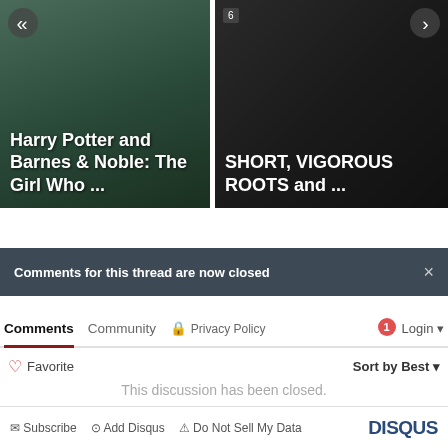[Figure (screenshot): Two media cards side by side. Left card shows 'Harry Potter and Barnes & Noble: The Girl Who ...' with a back arrow. Right card shows 'SHORT, VIGOROUS ROOTS and ...' with a forward arrow and badge.]
Comments for this thread are now closed
Comments  Community  Privacy Policy  1  Login
Favorite  Sort by Best
This discussion has been closed.
Subscribe  Add Disqus  Do Not Sell My Data  DISQUS